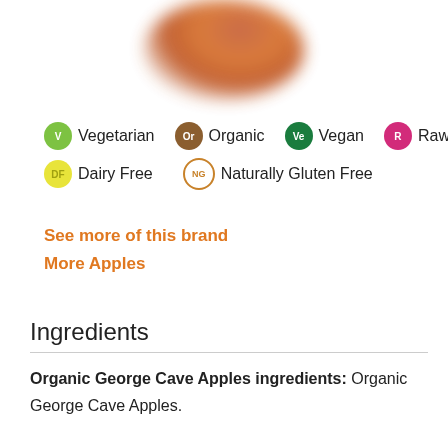[Figure (photo): Partial photo of an apple visible at the top of the page, blurred/cropped]
V Vegetarian  Or Organic  Ve Vegan  R Raw  DF Dairy Free  NG Naturally Gluten Free
See more of this brand
More Apples
Ingredients
Organic George Cave Apples ingredients: Organic George Cave Apples.